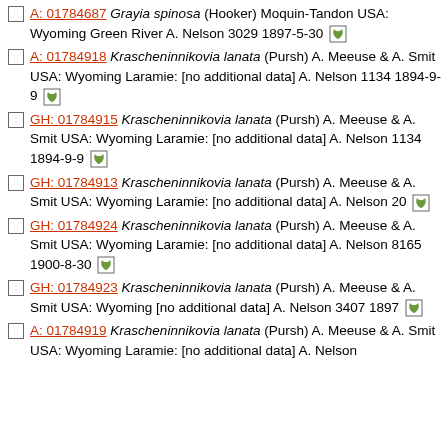A: 01784687 Grayia spinosa (Hooker) Moquin-Tandon USA: Wyoming Green River A. Nelson 3029 1897-5-30 [leaf icon]
A: 01784918 Krascheninnikovia lanata (Pursh) A. Meeuse & A. Smit USA: Wyoming Laramie: [no additional data] A. Nelson 1134 1894-9-9 [leaf icon]
GH: 01784915 Krascheninnikovia lanata (Pursh) A. Meeuse & A. Smit USA: Wyoming Laramie: [no additional data] A. Nelson 1134 1894-9-9 [leaf icon]
GH: 01784913 Krascheninnikovia lanata (Pursh) A. Meeuse & A. Smit USA: Wyoming Laramie: [no additional data] A. Nelson 20 [leaf icon]
GH: 01784924 Krascheninnikovia lanata (Pursh) A. Meeuse & A. Smit USA: Wyoming Laramie: [no additional data] A. Nelson 8165 1900-8-30 [leaf icon]
GH: 01784923 Krascheninnikovia lanata (Pursh) A. Meeuse & A. Smit USA: Wyoming [no additional data] A. Nelson 3407 1897 [leaf icon]
A: 01784919 Krascheninnikovia lanata (Pursh) A. Meeuse & A. Smit USA: Wyoming Laramie: [no additional data] A. Nelson